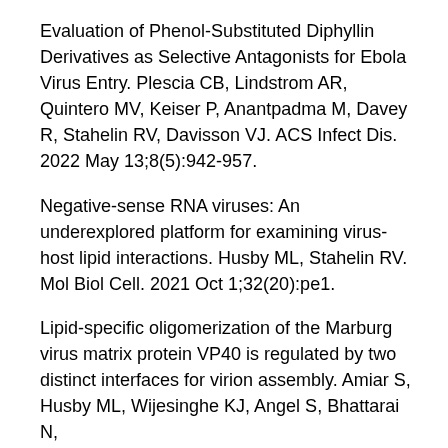Evaluation of Phenol-Substituted Diphyllin Derivatives as Selective Antagonists for Ebola Virus Entry. Plescia CB, Lindstrom AR, Quintero MV, Keiser P, Anantpadma M, Davey R, Stahelin RV, Davisson VJ. ACS Infect Dis. 2022 May 13;8(5):942-957.
Negative-sense RNA viruses: An underexplored platform for examining virus-host lipid interactions. Husby ML, Stahelin RV. Mol Biol Cell. 2021 Oct 1;32(20):pe1.
Lipid-specific oligomerization of the Marburg virus matrix protein VP40 is regulated by two distinct interfaces for virion assembly. Amiar S, Husby ML, Wijesinghe KJ, Angel S, Bhattarai N,